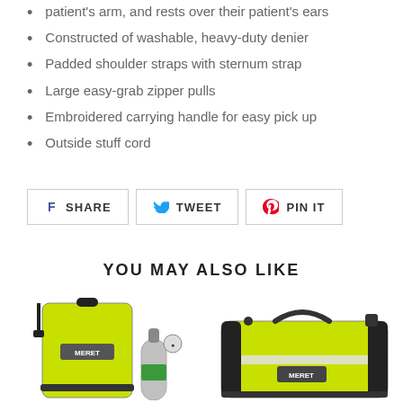patient's arm, and rests over their patient's ears
Constructed of washable, heavy-duty denier
Padded shoulder straps with sternum strap
Large easy-grab zipper pulls
Embroidered carrying handle for easy pick up
Outside stuff cord
SHARE  TWEET  PIN IT
YOU MAY ALSO LIKE
[Figure (photo): Yellow MERET medical backpack with oxygen cylinder beside it]
[Figure (photo): Yellow MERET medical duffel bag with reflective stripes and black hardware]